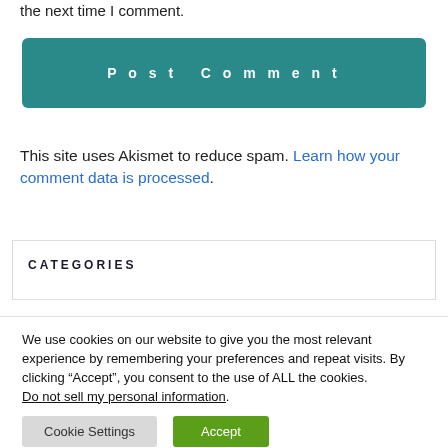the next time I comment.
Post Comment
This site uses Akismet to reduce spam. Learn how your comment data is processed.
CATEGORIES
We use cookies on our website to give you the most relevant experience by remembering your preferences and repeat visits. By clicking “Accept”, you consent to the use of ALL the cookies.
Do not sell my personal information.
Cookie Settings
Accept